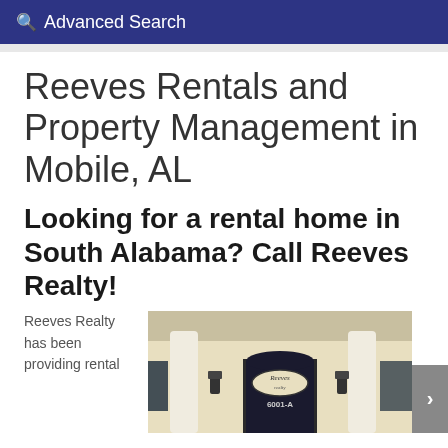Advanced Search
Reeves Rentals and Property Management in Mobile, AL
Looking for a rental home in South Alabama? Call Reeves Realty!
Reeves Realty has been providing rental
[Figure (photo): Exterior storefront of Reeves Realty office showing white columns, lantern sconces, a door with the Reeves Realty logo, and the address 6001-A]